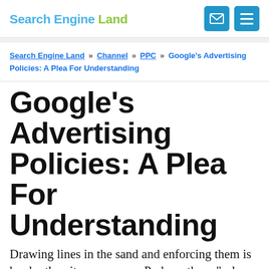Search Engine Land
Search Engine Land » Channel » PPC » Google's Advertising Policies: A Plea For Understanding
Google's Advertising Policies: A Plea For Understanding
Drawing lines in the sand and enforcing them is harder than it may appear. Perhaps these "rules of engagement" will